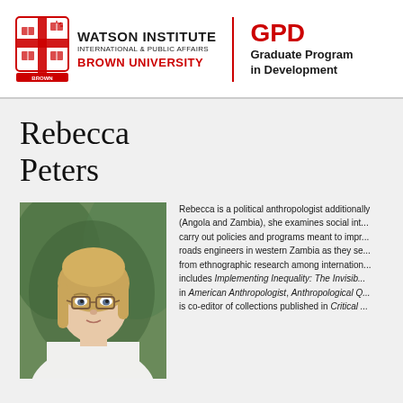[Figure (logo): Watson Institute for International & Public Affairs, Brown University crest/logo with shield containing cross and open books motif]
WATSON INSTITUTE INTERNATIONAL & PUBLIC AFFAIRS BROWN UNIVERSITY | GPD Graduate Program in Development
Rebecca Peters
[Figure (photo): Headshot photograph of Rebecca Peters, a woman with blonde hair and glasses wearing a white top, outdoors with green foliage in background]
Rebecca is a political anthropologist additionally (Angola and Zambia), she examines social int... carry out policies and programs meant to impr... roads engineers in western Zambia as they se... from ethnographic research among internation... includes Implementing Inequality: The Invisib... in American Anthropologist, Anthropological Q... is co-editor of collections published in Critical ...